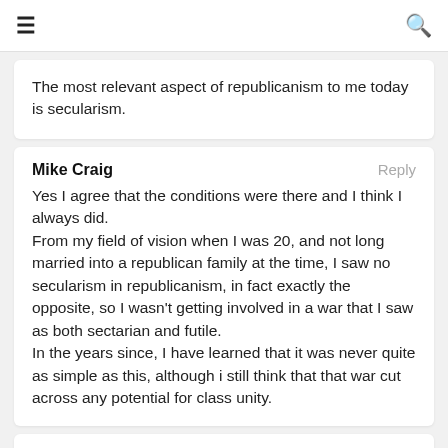≡  🔍
The most relevant aspect of republicanism to me today is secularism.
Mike Craig
Yes I agree that the conditions were there and I think I always did.
From my field of vision when I was 20, and not long married into a republican family at the time, I saw no secularism in republicanism, in fact exactly the opposite, so I wasn't getting involved in a war that I saw as both sectarian and futile.
In the years since, I have learned that it was never quite as simple as this, although i still think that that war cut across any potential for class unity.